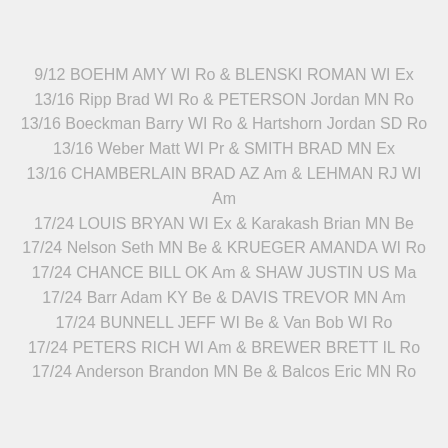9/12 BOEHM AMY WI Ro & BLENSKI ROMAN WI Ex
13/16 Ripp Brad WI Ro & PETERSON Jordan MN Ro
13/16 Boeckman Barry WI Ro & Hartshorn Jordan SD Ro
13/16 Weber Matt WI Pr & SMITH BRAD MN Ex
13/16 CHAMBERLAIN BRAD AZ Am & LEHMAN RJ WI Am
17/24 LOUIS BRYAN WI Ex & Karakash Brian MN Be
17/24 Nelson Seth MN Be & KRUEGER AMANDA WI Ro
17/24 CHANCE BILL OK Am & SHAW JUSTIN US Ma
17/24 Barr Adam KY Be & DAVIS TREVOR MN Am
17/24 BUNNELL JEFF WI Be & Van Bob WI Ro
17/24 PETERS RICH WI Am & BREWER BRETT IL Ro
17/24 Anderson Brandon MN Be & Balcos Eric MN Ro